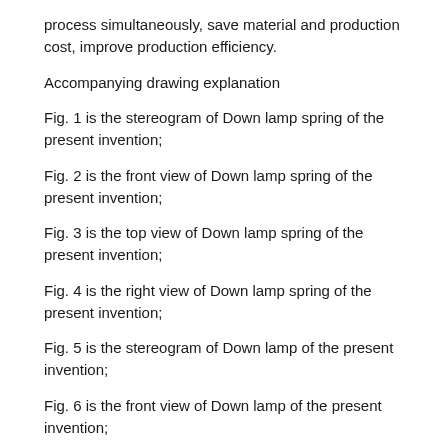process simultaneously, save material and production cost, improve production efficiency.
Accompanying drawing explanation
Fig. 1 is the stereogram of Down lamp spring of the present invention;
Fig. 2 is the front view of Down lamp spring of the present invention;
Fig. 3 is the top view of Down lamp spring of the present invention;
Fig. 4 is the right view of Down lamp spring of the present invention;
Fig. 5 is the stereogram of Down lamp of the present invention;
Fig. 6 is the front view of Down lamp of the present invention;
Fig. 7 is the top view of Down lamp of the present invention;